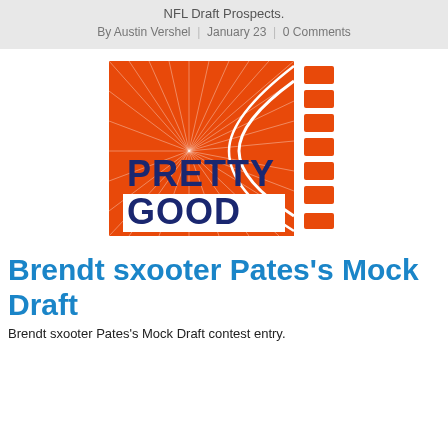NFL Draft Prospects.
By Austin Vershel  |  January 23  |  0 Comments
[Figure (logo): Pretty Good logo: orange square background with white radiating lines from center, navy blue text 'PRETTY GOOD', with a stylized torch/rocket shape on the right in white and orange stripes]
Brendt sxooter Pates's Mock Draft
Brendt sxooter Pates's Mock Draft contest entry.